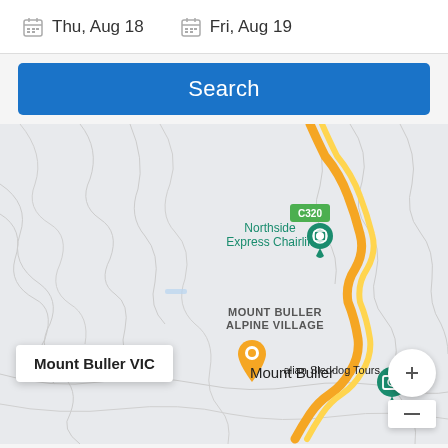Thu, Aug 18    Fri, Aug 19
Search
[Figure (map): Google Maps screenshot showing Mount Buller Alpine Village area in Victoria, Australia. Shows Northside Express Chairlift marker, Mount Buller location pin, C320 road label, and Australian Sleddog Tours marker. Yellow winding road visible through the mountain terrain.]
Mount Buller VIC